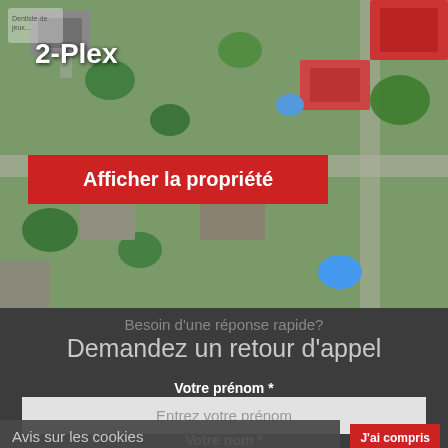[Figure (photo): Aerial/satellite view of a residential neighborhood with houses, yards, trees, and streets visible from above]
2-Plex
Afficher la propriété
Besoin d'une réponse rapide?
Demandez un retour d'appel
Votre prénom *
Entrez votre prénom
Votre nom *
Entrez votre nom
Votre téléphone *
Ex.: 555-555-1234
Avis sur les cookies
En poursuivant votre navigation, vous acceptez l'utilisation de fichiers témoins (cookies) par MICHEL GAUDREAU RE/MAX Québec. Pour en savoir plus, cliquez ici.
J'ai compris